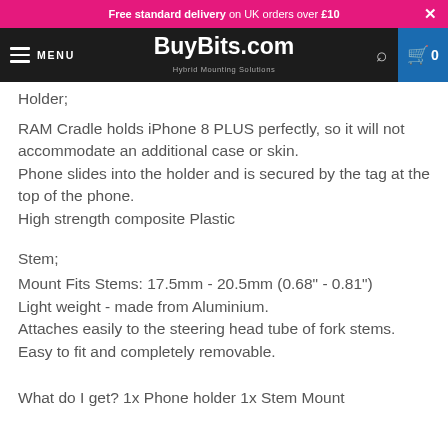Free standard delivery on UK orders over £10
BuyBits.com Hybrid Mounting Solutions MENU
Holder;
RAM Cradle holds iPhone 8 PLUS perfectly, so it will not accommodate an additional case or skin.
Phone slides into the holder and is secured by the tag at the top of the phone.
High strength composite Plastic
Stem;
Mount Fits Stems: 17.5mm - 20.5mm (0.68" - 0.81")
Light weight - made from Aluminium.
Attaches easily to the steering head tube of fork stems.
Easy to fit and completely removable.
What do I get? 1x Phone holder 1x Stem Mount